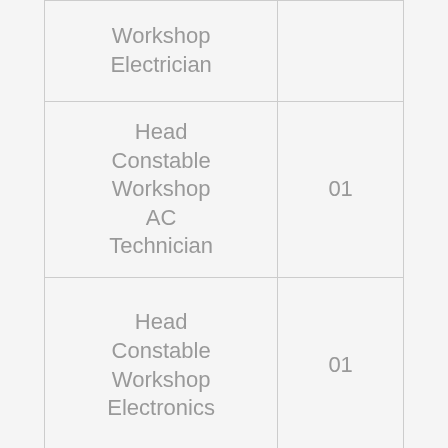| Workshop Electrician |  |
| Head Constable Workshop AC Technician | 01 |
| Head Constable Workshop Electronics | 01 |
| Head Constable Workshop | 01 |